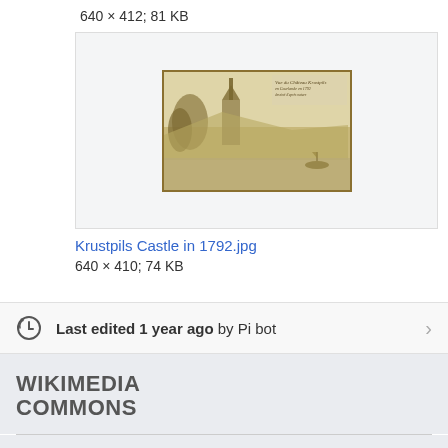640 × 412; 81 KB
[Figure (illustration): Historical engraving/drawing of Krustpils Castle in sepia/brown tones showing a castle by a river with trees and landscape]
Krustpils Castle in 1792.jpg
640 × 410; 74 KB
Last edited 1 year ago by Pi bot
WIKIMEDIA COMMONS
Files are available under licenses specified on their description